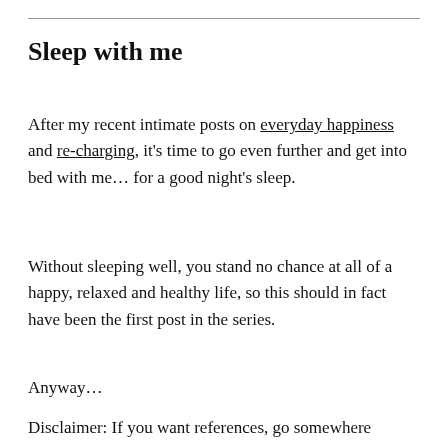Sleep with me
After my recent intimate posts on everyday happiness and re-charging, it's time to go even further and get into bed with me… for a good night's sleep.
Without sleeping well, you stand no chance at all of a happy, relaxed and healthy life, so this should in fact have been the first post in the series.
Anyway…
Disclaimer: If you want references, go somewhere